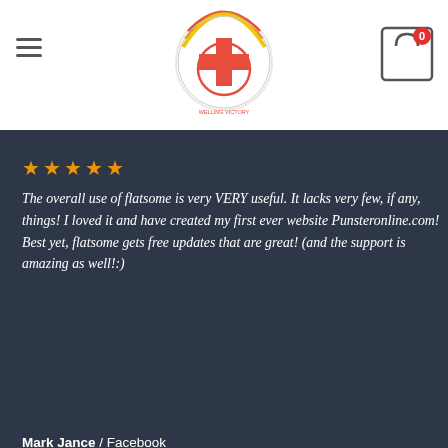[Figure (logo): Welling Victory circular logo with rainbow stripes and cross symbol]
[Figure (other): Hamburger menu icon (three horizontal lines) on the left]
[Figure (other): Shopping cart icon with badge showing 0 on the right]
The overall use of flatsome is very VERY useful. It lacks very few, if any, things! I loved it and have created my first ever website Punsteronline.com! Best yet, flatsome gets free updates that are great! (and the support is amazing as well!:)
Mark Jance / Facebook
[Figure (other): Carousel navigation dots: one filled white, one outlined]
GIỚI THIỆU
HOTLINE: 0901996949
en Phước có mặt rất sớm ở thị trường thang máy Việt. Ra đời từ năm 2009 trải qua thời